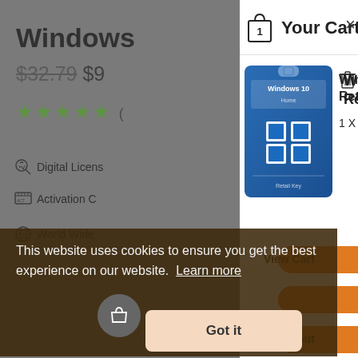Windows
$32.79  $9
★★★★★ (
🔑 Digital Licens
🖥 Activation C
🌐 World Wide
Your Cart
[Figure (screenshot): Windows 10 Home product card image — blue retail key card with Windows logo]
Windows 10 Home Retail Key
1 X $24.67 = $24.67
View Cart
Checkout
This website uses cookies to ensure you get the best experience on our website.  Learn more
Got it